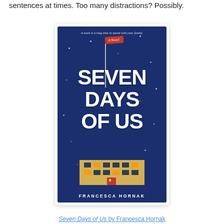sentences at times. Too many distractions? Possibly.
[Figure (illustration): Book cover for 'Seven Days of Us' by Francesca Hornak. Dark blue background with white stars. Tagline reads 'A week is a long time to spend with your family.' A red flag with 'A Novel' in italic script sits atop a flagpole. Large white bold text reads 'SEVEN DAYS OF US'. Below the text is an illustrated house. Author name 'FRANCESCA HORNAK' appears at the bottom in white capitals.]
Seven Days of Us by Francesca Hornak